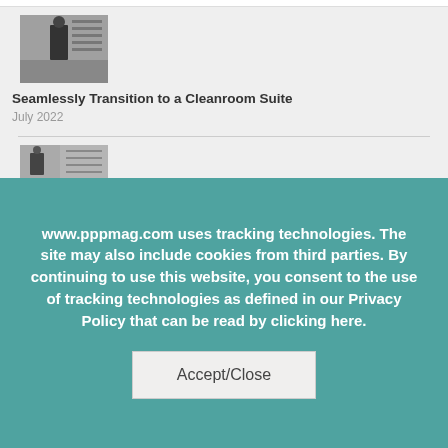[Figure (photo): Thumbnail photo of a person in a cleanroom or laboratory setting, black and white image]
Seamlessly Transition to a Cleanroom Suite
July 2022
[Figure (photo): Thumbnail photo of a person in a cleanroom or laboratory environment, black and white image, partially visible]
www.pppmag.com uses tracking technologies. The site may also include cookies from third parties. By continuing to use this website, you consent to the use of tracking technologies as defined in our Privacy Policy that can be read by clicking here.
Accept/Close